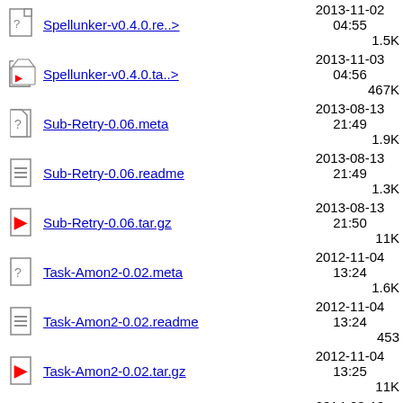Spellunker-v0.4.0.re..> 2013-11-02 04:55 1.5K
Spellunker-v0.4.0.ta..> 2013-11-03 04:56 467K
Sub-Retry-0.06.meta 2013-08-13 21:49 1.9K
Sub-Retry-0.06.readme 2013-08-13 21:49 1.3K
Sub-Retry-0.06.tar.gz 2013-08-13 21:50 11K
Task-Amon2-0.02.meta 2012-11-04 13:24 1.6K
Task-Amon2-0.02.readme 2012-11-04 13:24 453
Task-Amon2-0.02.tar.gz 2012-11-04 13:25 11K
Task-BeLike-TOKUHIRO..> 2014-03-19 21:34 3.2K
Task-BeLike-TOKUHIRO..> 2014-03-19 21:34 7.2K
Task-BeLike-TOKUHIRO..> 2014-03-19 21:35 13K
Template-Plugin-HTML..> 2012-11-06 1.2K